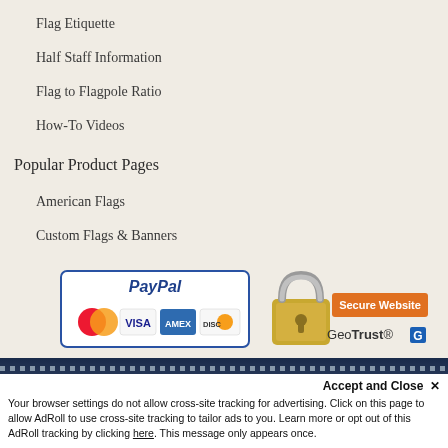Flag Etiquette
Half Staff Information
Flag to Flagpole Ratio
How-To Videos
Popular Product Pages
American Flags
Custom Flags & Banners
[Figure (logo): PayPal accepted payment methods badge showing MasterCard, Visa, Amex, Discover]
[Figure (logo): GeoTrust Secure Website badge with padlock icon]
Accept and Close ×
Your browser settings do not allow cross-site tracking for advertising. Click on this page to allow AdRoll to use cross-site tracking to tailor ads to you. Learn more or opt out of this AdRoll tracking by clicking here. This message only appears once.